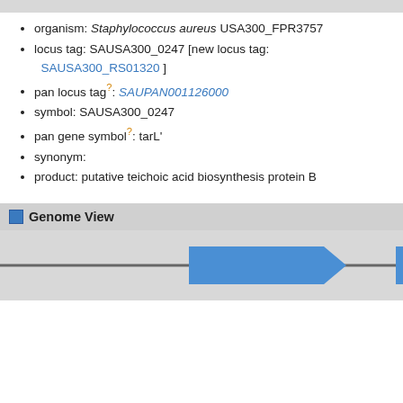organism: Staphylococcus aureus USA300_FPR3757
locus tag: SAUSA300_0247 [new locus tag: SAUSA300_RS01320 ]
pan locus tag?: SAUPAN001126000
symbol: SAUSA300_0247
pan gene symbol?: tarL'
synonym:
product: putative teichoic acid biosynthesis protein B
Genome View
[Figure (illustration): Genome view showing two blue rightward-pointing gene arrows on a horizontal gray line, representing gene loci on the chromosome.]